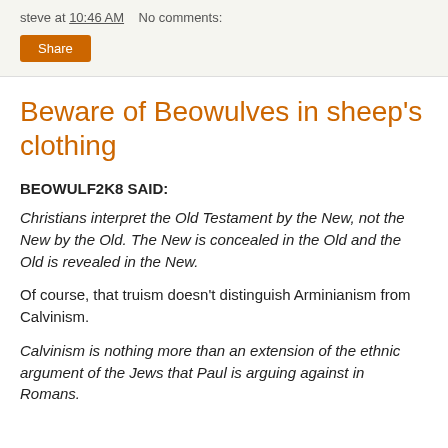steve at 10:46 AM   No comments:
Share
Beware of Beowulves in sheep's clothing
BEOWULF2K8 SAID:
Christians interpret the Old Testament by the New, not the New by the Old. The New is concealed in the Old and the Old is revealed in the New.
Of course, that truism doesn't distinguish Arminianism from Calvinism.
Calvinism is nothing more than an extension of the ethnic argument of the Jews that Paul is arguing against in Romans.